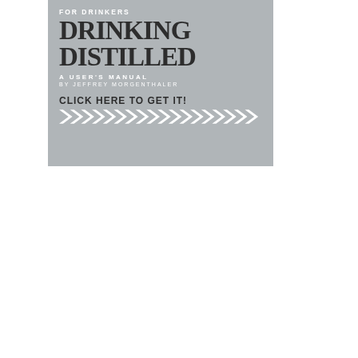[Figure (illustration): Book advertisement for 'Drinking Distilled: A User's Manual' by Jeffrey Morgenthaler, gray background with white chevron arrows and 'Click Here to Get It!' call to action]
[Figure (illustration): Book advertisement for 'I Wrote The Bar Book! Elements of Cocktail Technique' by Jeffrey Morgenthaler with Martha Holmberg, dark dotted background with red and white typography and 'Click Here to Get It!' call to action]